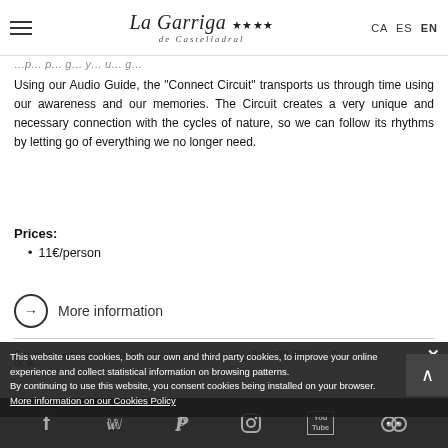La Garriga **** de Castelladral | CA ES EN
Using our Audio Guide, the “Connect Circuit” transports us through time using our awareness and our memories. The Circuit creates a very unique and necessary connection with the cycles of nature, so we can follow its rhythms by letting go of everything we no longer need.
Prices:
11€/person
More information
For more information or reservations call us at (+34) 938 682 … or w…
This website uses cookies, both our own and third party cookies, to improve your online experience and collect statistical information on browsing patterns. By continuing to use this website, you consent cookies being installed on your browser. More information on our Cookies Policy
Walking routes
Social media links: Facebook, Twitter, Pinterest, Instagram, YouTube, TripAdvisor